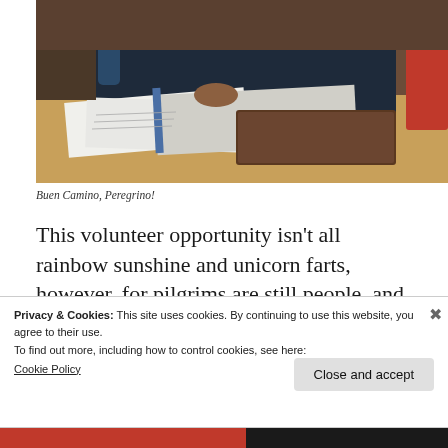[Figure (photo): Person in dark clothing sitting at a wooden desk, writing in a notebook/binder. Papers, a brown leather portfolio, and a water bottle are visible on the desk. Background shows a red chair.]
Buen Camino, Peregrino!
This volunteer opportunity isn't all rainbow sunshine and unicorn farts, however, for pilgrims are still people, and God love 'em,
Privacy & Cookies: This site uses cookies. By continuing to use this website, you agree to their use.
To find out more, including how to control cookies, see here:
Cookie Policy
Close and accept